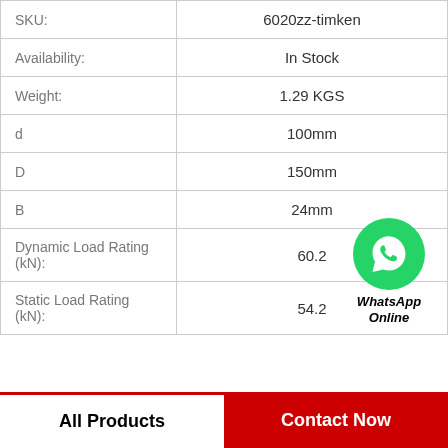| Property | Value |
| --- | --- |
| SKU: | 6020zz-timken |
| Availability: | In Stock |
| Weight: | 1.29 KGS |
| d | 100mm |
| D | 150mm |
| B | 24mm |
| Dynamic Load Rating (kN): | 60.2 |
| Static Load Rating (kN): | 54.2 |
[Figure (logo): WhatsApp Online button overlay with green circle phone icon and italic bold text 'WhatsApp Online']
All Products
Contact Now